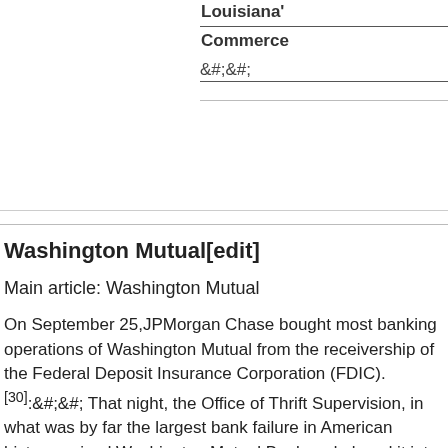| Louisiana' |
| Commerce |
&#;
Washington Mutual[edit]
Main article: Washington Mutual
On September 25,JPMorgan Chase bought most banking operations of Washington Mutual from the receivership of the Federal Deposit Insurance Corporation (FDIC).[30]:&#;&#; That night, the Office of Thrift Supervision, in what was by far the largest bank failure in American history, seized Washington Mutual Bank and placed it into receivership. The FDIC sold the bank's assets, secured debt obligations and deposits to JPMorgan Chase Bank, NA for $ billion,